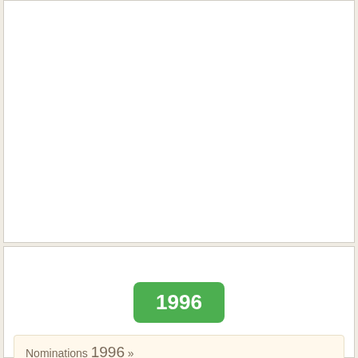[Figure (other): White rectangular section at the top of the page, mostly blank content area]
1996
Nominations 1996 »